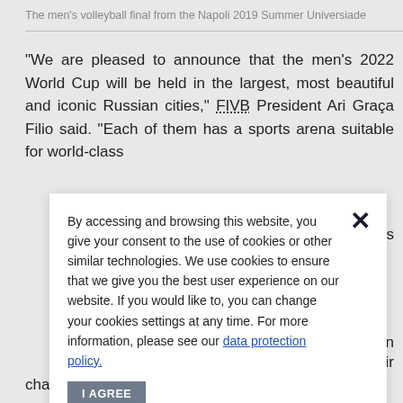The men's volleyball final from the Napoli 2019 Summer Universiade
"We are pleased to announce that the men's 2022 World Cup will be held in the largest, most beautiful and iconic Russian cities," FIVB President Ari Graça Filio said. "Each of them has a sports arena suitable for world-class [events that guarantees] ... Cup in ... by their ... further ... a great ... n track ... Thus, I ... world championship.
By accessing and browsing this website, you give your consent to the use of cookies or other similar technologies. We use cookies to ensure that we give you the best user experience on our website. If you would like to, you can change your cookies settings at any time. For more information, please see our data protection policy.